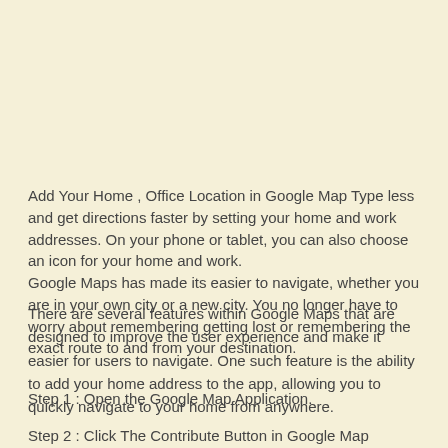Add Your Home , Office Location in Google Map Type less and get directions faster by setting your home and work addresses. On your phone or tablet, you can also choose an icon for your home and work.
Google Maps has made its easier to navigate, whether you are in your own city or a new city. You no longer have to worry about remembering getting lost or remembering the exact route to and from your destination.
There are several features within Google Maps that are designed to improve the user experience and make it easier for users to navigate. One such feature is the ability to add your home address to the app, allowing you to quickly navigate to your home from anywhere.
Step 1 : Open the Google Map Application.
Step 2 : Click The Contribute Button in Google Map